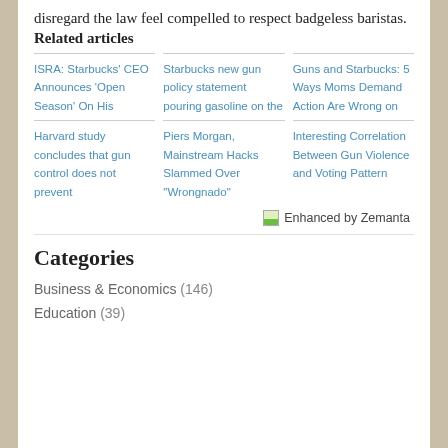disregard the law feel compelled to respect badgeless baristas.
Related articles
ISRA: Starbucks' CEO Announces 'Open Season' On His
Starbucks new gun policy statement pouring gasoline on the
Guns and Starbucks: 5 Ways Moms Demand Action Are Wrong on
Harvard study concludes that gun control does not prevent
Piers Morgan, Mainstream Hacks Slammed Over "Wrongnado"
Interesting Correlation Between Gun Violence and Voting Pattern
[Figure (illustration): Enhanced by Zemanta logo/badge with small image icon]
Categories
Business & Economics (146)
Education (39)